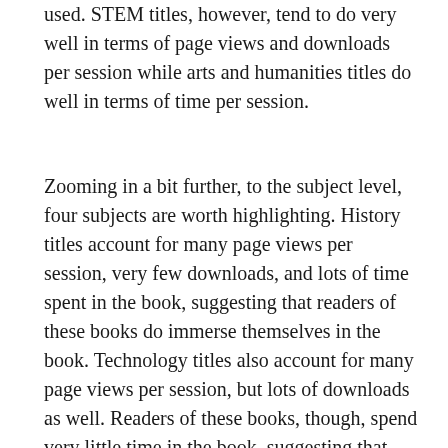used. STEM titles, however, tend to do very well in terms of page views and downloads per session while arts and humanities titles do well in terms of time per session.
Zooming in a bit further, to the subject level, four subjects are worth highlighting. History titles account for many page views per session, very few downloads, and lots of time spent in the book, suggesting that readers of these books do immerse themselves in the book. Technology titles also account for many page views per session, but lots of downloads as well. Readers of these books, though, spend very little time in the book, suggesting that they are skimming, looking at lots of pages, and quickly getting the information they need. Education, a subject that is